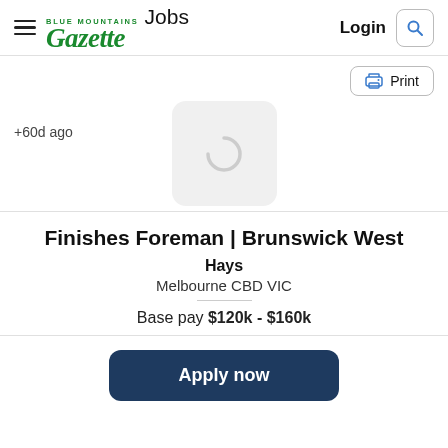Blue Mountains Gazette Jobs — Login
+60d ago
[Figure (logo): Company logo placeholder with loading spinner icon]
Finishes Foreman | Brunswick West
Hays
Melbourne CBD VIC
Base pay $120k - $160k
Apply now